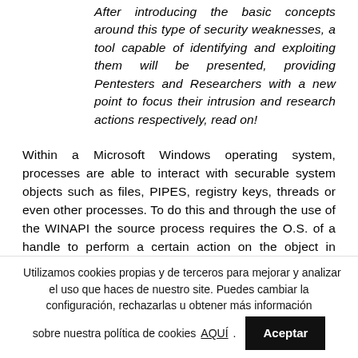After introducing the basic concepts around this type of security weaknesses, a tool capable of identifying and exploiting them will be presented, providing Pentesters and Researchers with a new point to focus their intrusion and research actions respectively, read on!
Within a Microsoft Windows operating system, processes are able to interact with securable system objects such as files, PIPES, registry keys, threads or even other processes. To do this and through the use of the WINAPI the source process requires the O.S. of a handle to perform a certain action on the object in question.
Utilizamos cookies propias y de terceros para mejorar y analizar el uso que haces de nuestro site. Puedes cambiar la configuración, rechazarlas u obtener más información sobre nuestra política de cookies AQUÍ. Aceptar